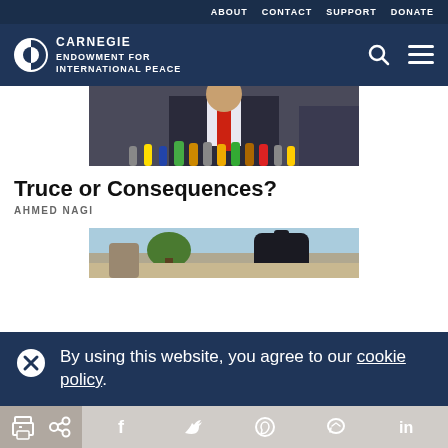ABOUT  CONTACT  SUPPORT  DONATE
[Figure (logo): Carnegie Endowment for International Peace logo with circular icon and text]
[Figure (photo): Man in suit with red tie speaking at press conference surrounded by microphones from various news outlets]
Truce or Consequences?
AHMED NAGI
[Figure (photo): Partial image showing person outdoors with microphone visible]
By using this website, you agree to our cookie policy.